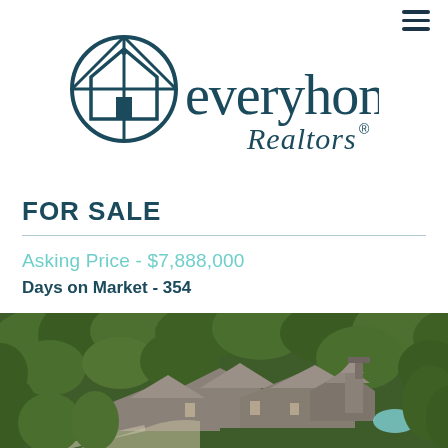[Figure (logo): Everyhome Realtors logo with circular house icon and the text 'everyhome Realtors']
FOR SALE
Asking Price - $7,888,000
Days on Market - 354
[Figure (photo): Aerial photograph of a large luxury estate home surrounded by mature trees, showing stone/brick roof structure with multiple gables, a pool area, and lush green landscaping.]